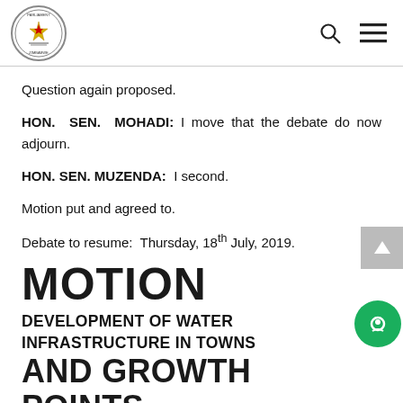Parliament of Zimbabwe logo, search icon, menu icon
Question again proposed.
HON. SEN. MOHADI: I move that the debate do now adjourn.
HON. SEN. MUZENDA: I second.
Motion put and agreed to.
Debate to resume: Thursday, 18th July, 2019.
MOTION
DEVELOPMENT OF WATER INFRASTRUCTURE IN TOWNS AND GROWTH POINTS